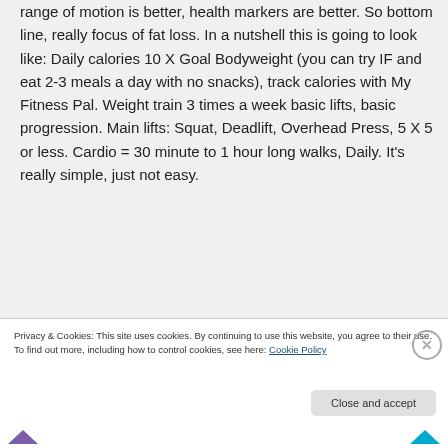range of motion is better, health markers are better. So bottom line, really focus of fat loss. In a nutshell this is going to look like: Daily calories 10 X Goal Bodyweight (you can try IF and eat 2-3 meals a day with no snacks), track calories with My Fitness Pal. Weight train 3 times a week basic lifts, basic progression. Main lifts: Squat, Deadlift, Overhead Press, 5 X 5 or less. Cardio = 30 minute to 1 hour long walks, Daily. It's really simple, just not easy.
Privacy & Cookies: This site uses cookies. By continuing to use this website, you agree to their use. To find out more, including how to control cookies, see here: Cookie Policy